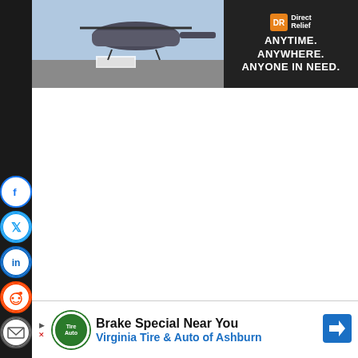[Figure (photo): Banner advertisement showing a military helicopter loading supplies with Direct Relief logo and tagline ANYTIME. ANYWHERE. ANYONE IN NEED.]
[Figure (logo): Social media share buttons: Facebook, Twitter, LinkedIn, Reddit, Email — circular icons on left sidebar]
ezoic   report this ad
Love Pauseandplay.com? We do, too … Help us keep it going. (Every little bit helps.) We ♥ u.
Via PayPal:
[Figure (photo): Bottom advertisement: Brake Special Near You — Virginia Tire & Auto of Ashburn with logo and directional arrow icon]